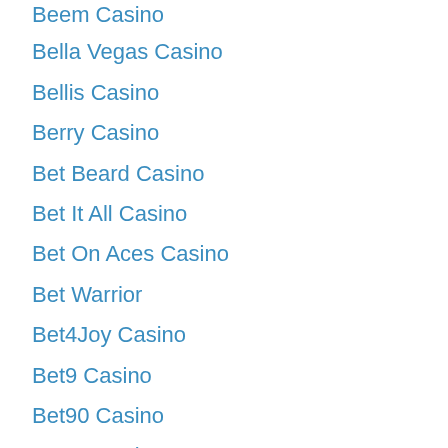Beem Casino
Bella Vegas Casino
Bellis Casino
Berry Casino
Bet Beard Casino
Bet It All Casino
Bet On Aces Casino
Bet Warrior
Bet4Joy Casino
Bet9 Casino
Bet90 Casino
Bet99 Casino
Betamo Casino
BetandYou Casino
Betano Casino